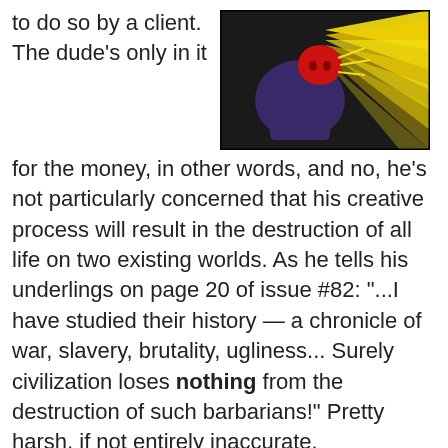to do so by a client.  The dude's only in it
[Figure (illustration): Comic panel showing a figure with a red head emitting bright yellow energy rays against a dark background]
for the money, in other words, and no, he's not particularly concerned that his creative process will result in the destruction of all life on two existing worlds.  As he tells his underlings on page 20 of issue #82:  "...I have studied their history — a chronicle of war, slavery, brutality, ugliness... Surely civilization loses nothing from the destruction of such barbarians!"  Pretty harsh, if not entirely inaccurate.
[Figure (illustration): Comic panel with speech bubbles: '-- SIMPLY PUT THE HARMONIZER PLATE WITHIN IT' and 'SO I HAVE, CREATOR 2!']
And how does the Red Tornado, the